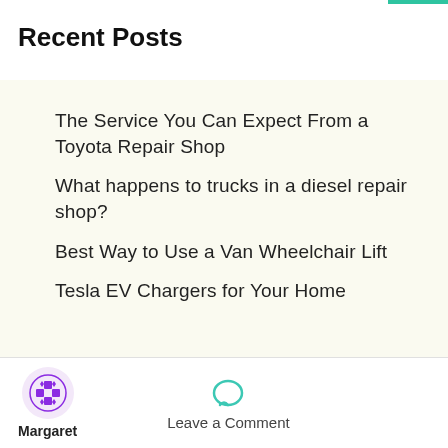Recent Posts
The Service You Can Expect From a Toyota Repair Shop
What happens to trucks in a diesel repair shop?
Best Way to Use a Van Wheelchair Lift
Tesla EV Chargers for Your Home
Margaret  Leave a Comment